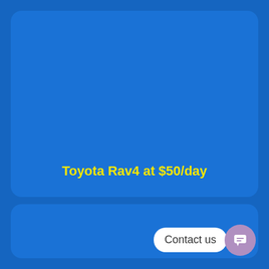Toyota Rav4 at $50/day
Contact us